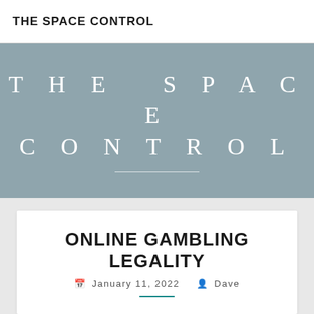THE SPACE CONTROL
[Figure (other): Hero banner with muted blue-grey background displaying 'THE SPACE CONTROL' in large spaced white serif letters with a horizontal white underline]
ONLINE GAMBLING LEGALITY
January 11, 2022  Dave